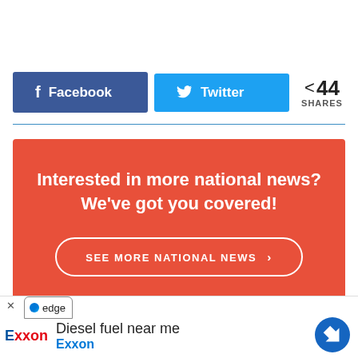[Figure (other): Social share buttons row: Facebook button (blue), Twitter button (light blue), share count showing 44 SHARES]
[Figure (infographic): Red promotional box: 'Interested in more national news? We've got you covered!' with a 'SEE MORE NATIONAL NEWS >' button outlined in white]
[Figure (screenshot): Browser ad bar at bottom: Edge browser badge, Exxon logo, 'Diesel fuel near me' title, 'Exxon' subtitle in blue, navigation icon]